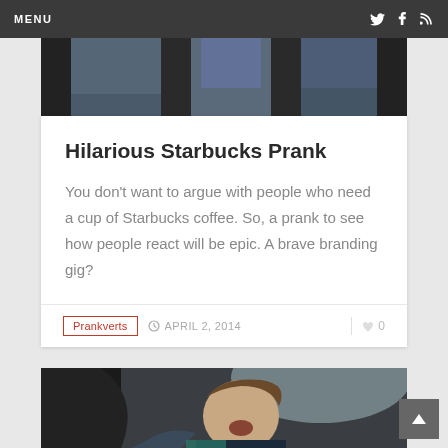MENU
[Figure (photo): Cropped photo showing people from waist down, jeans visible, dark background]
Hilarious Starbucks Prank
You don't want to argue with people who need a cup of Starbucks coffee. So, a prank to see how people react will be epic. A brave branding gig?
Prankverts   APRIL 2, 2014   0
[Figure (photo): Photo of a woman inside a car, mouth open in surprise, dark interior visible]